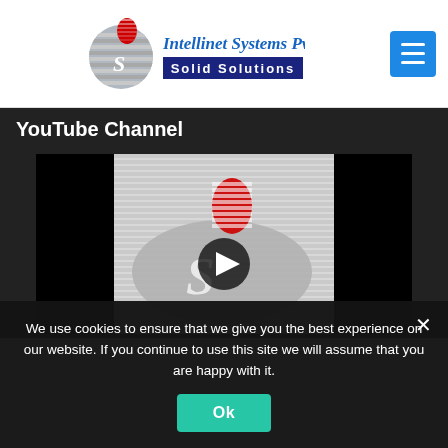Intellinet Systems Pvt.Ltd Solid Solutions
YouTube Channel
[Figure (screenshot): YouTube video thumbnail showing Intellinet Systems logo (striped oval with red sphere on top and stylized S letter) with a play button overlay, on a grey background, surrounded by black bars.]
We use cookies to ensure that we give you the best experience on our website. If you continue to use this site we will assume that you are happy with it.